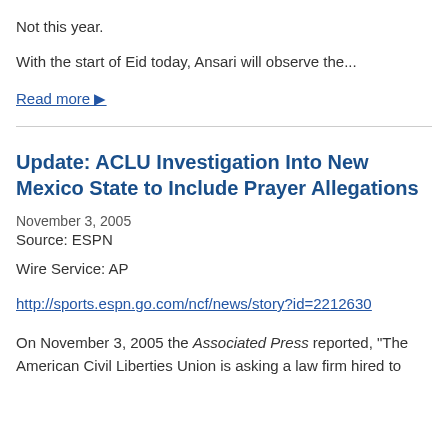Not this year.
With the start of Eid today, Ansari will observe the...
Read more ▶
Update: ACLU Investigation Into New Mexico State to Include Prayer Allegations
November 3, 2005
Source: ESPN
Wire Service: AP
http://sports.espn.go.com/ncf/news/story?id=2212630
On November 3, 2005 the Associated Press reported, "The American Civil Liberties Union is asking a law firm hired to